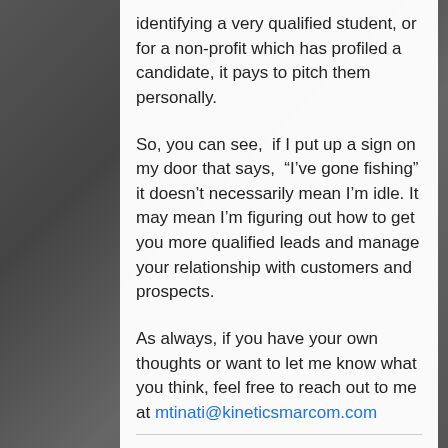identifying a very qualified student, or for a non-profit which has profiled a candidate, it pays to pitch them personally.
So, you can see,  if I put up a sign on my door that says,  “I’ve gone fishing” it doesn’t necessarily mean I’m idle. It may mean I’m figuring out how to get you more qualified leads and manage your relationship with customers and prospects.
As always, if you have your own thoughts or want to let me know what you think, feel free to reach out to me at mtinati@kineticsmarcom.com
Email?